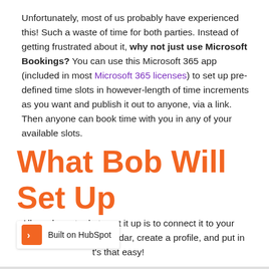Unfortunately, most of us probably have experienced this! Such a waste of time for both parties. Instead of getting frustrated about it, why not just use Microsoft Bookings? You can use this Microsoft 365 app (included in most Microsoft 365 licenses) to set up pre-defined time slots in however-length of time increments as you want and publish it out to anyone, via a link. Then anyone can book time with you in any of your available slots.
What Bob Will Set Up
All you have to do to set it up is to connect it to your Microsoft Outlook calendar, create a profile, and put in your availability. It's that easy!